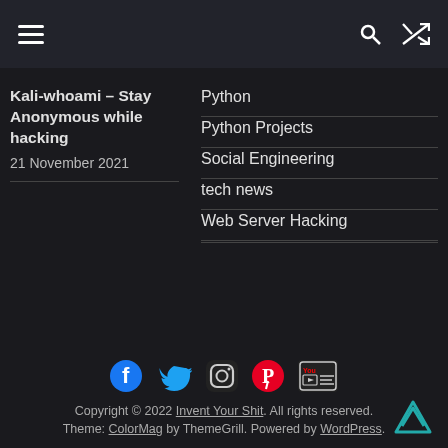Navigation header with hamburger menu, search icon, shuffle icon
Kali-whoami – Stay Anonymous while hacking 21 November 2021
Python
Python Projects
Social Engineering
tech news
Web Server Hacking
[Figure (other): Social media icons: Facebook, Twitter, Instagram, Pinterest, YouTube]
Copyright © 2022 Invent Your Shit. All rights reserved. Theme: ColorMag by ThemeGrill. Powered by WordPress.